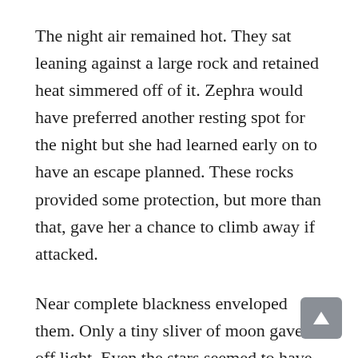The night air remained hot. They sat leaning against a large rock and retained heat simmered off of it. Zephra would have preferred another resting spot for the night but she had learned early on to have an escape planned. These rocks provided some protection, but more than that, gave her a chance to climb away if attacked.
Near complete blackness enveloped them. Only a tiny sliver of moon gave off light. Even the stars seemed to have disappeared, hiding behind an opaque haze. Zephra remained on edge,